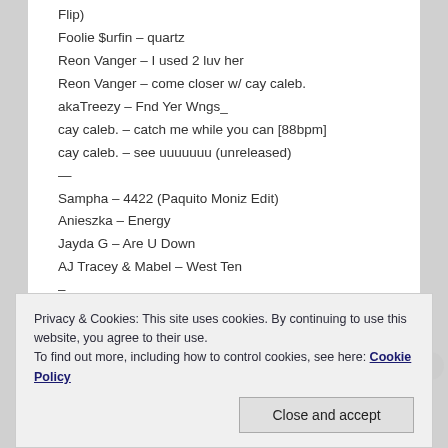Flip)
Foolie $urfin – quartz
Reon Vanger – I used 2 luv her
Reon Vanger – come closer w/ cay caleb.
akaTreezy – Fnd Yer Wngs_
cay caleb. – catch me while you can [88bpm]
cay caleb. – see uuuuuuu (unreleased)
—
Sampha – 4422 (Paquito Moniz Edit)
Anieszka – Energy
Jayda G – Are U Down
AJ Tracey & Mabel – West Ten
—
Privacy & Cookies: This site uses cookies. By continuing to use this website, you agree to their use.
To find out more, including how to control cookies, see here: Cookie Policy
Close and accept